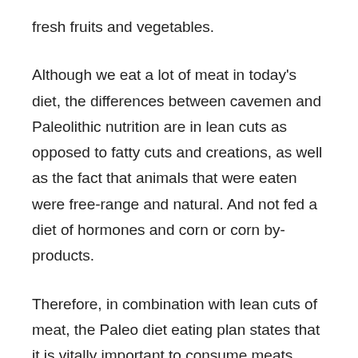fresh fruits and vegetables.
Although we eat a lot of meat in today's diet, the differences between cavemen and Paleolithic nutrition are in lean cuts as opposed to fatty cuts and creations, as well as the fact that animals that were eaten were free-range and natural. And not fed a diet of hormones and corn or corn by-products.
Therefore, in combination with lean cuts of meat, the Paleo diet eating plan states that it is vitally important to consume meats from animals that have been grass-fed or grass-fed. When browsing the aisles at your local grocery store or butcher, lean cuts of meat to look out for include top sirloin, lean pork chops and pork tenderloin, butterfly pork, chuck steak, London grill, and